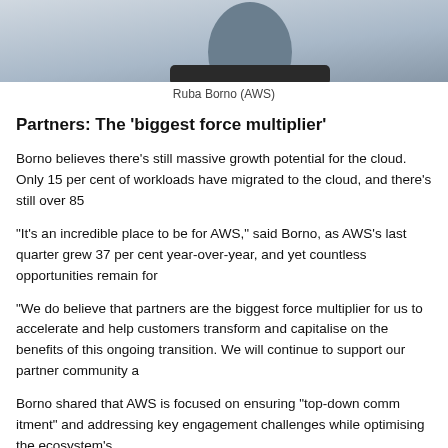[Figure (photo): Partial photo of Ruba Borno from AWS, showing head and shoulders against a light background]
Ruba Borno (AWS)
Partners: The 'biggest force multiplier'
Borno believes there’s still massive growth potential for the cloud. Only 15 per cent of workloads have migrated to the cloud, and there’s still over 85
“It’s an incredible place to be for AWS,” said Borno, as AWS’s last quarter grew 37 per cent year-over-year, and yet countless opportunities remain for
“We do believe that partners are the biggest force multiplier for us to accelerate and help customers transform and capitalise on the benefits of this ongoing transition. We will continue to support our partner community a
Borno shared that AWS is focused on ensuring “top-down commitment” and addressing key engagement challenges while optimising the ecosystem’s
Therefore, it shouldn’t be a surprise that listening and working with partners for continued success – cited as a top lesson from more than a de
“Why is this important?” Borno asked. “Because we define cle